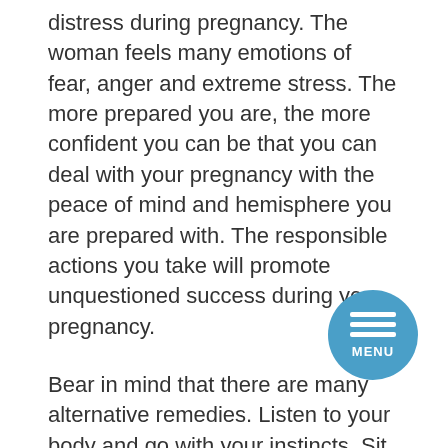distress during pregnancy. The woman feels many emotions of fear, anger and extreme stress. The more prepared you are, the more confident you can be that you can deal with your pregnancy with the peace of mind and hemisphere you are prepared with. The responsible actions you take will promote unquestioned success during your pregnancy.
Bear in mind that there are many alternative remedies. Listen to your body and go with your instincts. Sit quietly and quiet. Expand your spiritual journey and open up to other influences that are soothing. Something that has worked well for others that are going through pregnancy, or have already been through it, are special herbs or other natural remedies.
The time your baby will spend with you is limited, so better to do something now to make the most out of